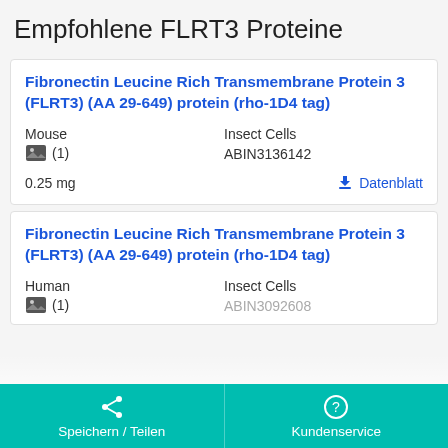Empfohlene FLRT3 Proteine
Fibronectin Leucine Rich Transmembrane Protein 3 (FLRT3) (AA 29-649) protein (rho-1D4 tag)
Mouse | Insect Cells | (1) | ABIN3136142 | 0.25 mg | Datenblatt
Fibronectin Leucine Rich Transmembrane Protein 3 (FLRT3) (AA 29-649) protein (rho-1D4 tag)
Human | Insect Cells | (1) | ABIN3092608
Speichern / Teilen | Kundenservice